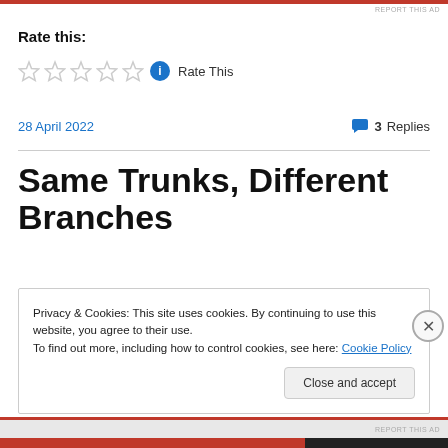REPORT THIS AD
Rate this:
[Figure (other): Five empty star rating icons followed by a blue info circle icon and 'Rate This' text]
28 April 2022
3 Replies
Same Trunks, Different Branches
Privacy & Cookies: This site uses cookies. By continuing to use this website, you agree to their use.
To find out more, including how to control cookies, see here: Cookie Policy
Close and accept
REPORT THIS AD